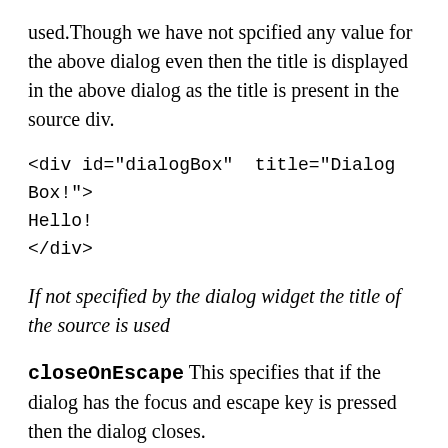used.Though we have not spcified any value for the above dialog even then the title is displayed in the above dialog as the title is present in the source div.
If not specified by the dialog widget the title of the source is used
closeOnEscape  This specifies that if the dialog has the focus and escape key is pressed then the dialog closes.